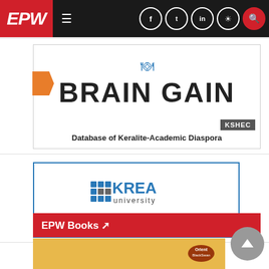EPW - Economic & Political Weekly
[Figure (logo): Brain Gain - Database of Keralite-Academic Diaspora banner ad with KSHEC branding and orange arrow tag]
[Figure (logo): KREA University Teaching Fellows Programme banner ad with blue border]
EPW Books
[Figure (photo): Orient BlackSwan book cover on yellow background]